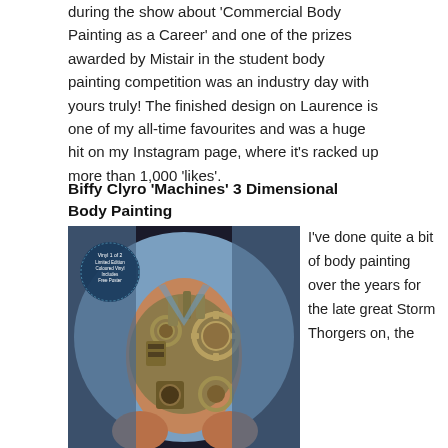during the show about 'Commercial Body Painting as a Career' and one of the prizes awarded by Mistair in the student body painting competition was an industry day with yours truly! The finished design on Laurence is one of my all-time favourites and was a huge hit on my Instagram page, where it's racked up more than 1,000 'likes'.
Biffy Clyro 'Machines' 3 Dimensional Body Painting
[Figure (photo): A man in a blue shirt pulling it open to reveal an intricate 3D body painting of steampunk machinery, gears, and mechanical parts on his torso. A dark blue circular badge in the top left reads 'Vinyl 1 of 2 Limited Edition Coloured Vinyl Includes Free Poster'.]
I've done quite a bit of body painting over the years for the late great Storm Thorgers on, the